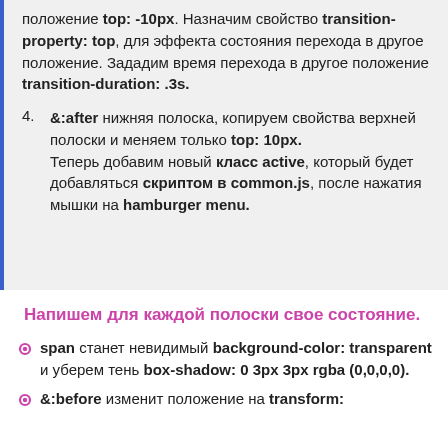положение top: -10px. Назначим свойство transition-property: top, для эффекта состояния перехода в другое положение. Зададим время перехода в другое положение transition-duration: .3s.
4. &:after нижняя полоска, копируем свойства верхней полоски и меняем только top: 10px. Теперь добавим новый класс active, который будет добавляться скриптом в common.js, после нажатия мышки на hamburger menu.
Напишем для каждой полоски свое состояние.
span станет невидимый background-color: transparent и уберем тень box-shadow: 0 3px 3px rgba (0,0,0,0).
&:before изменит положение на transform: